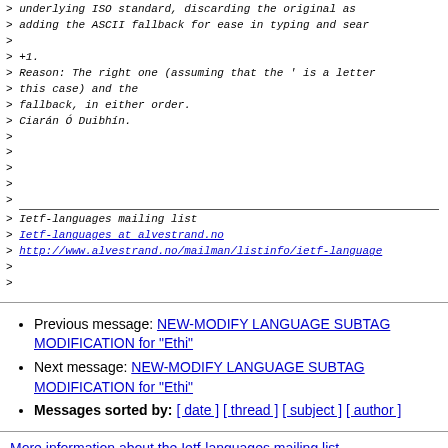> > underlying ISO standard, discarding the original as
> > adding the ASCII fallback for ease in typing and sear
>
> +1.
> Reason: The right one (assuming that the ' is a letter
> this case) and the
> fallback, in either order.
> Ciarán Ó Duibhín.
>
>
>
>
> ___
> Ietf-languages mailing list
> Ietf-languages at alvestrand.no
> http://www.alvestrand.no/mailman/listinfo/ietf-language
>
>
Previous message: NEW-MODIFY LANGUAGE SUBTAG MODIFICATION for "Ethi"
Next message: NEW-MODIFY LANGUAGE SUBTAG MODIFICATION for "Ethi"
Messages sorted by: [ date ] [ thread ] [ subject ] [ author ]
More information about the Ietf-languages mailing list